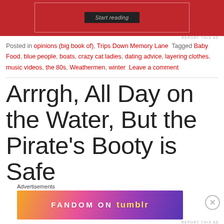[Figure (screenshot): Red background banner with 'Start reading' button inside a bordered rectangle]
REPORT THIS AD
Posted in opinions (big book of), Trips Down Memory Lane   Tagged Baby Food, blue people, boats, crazy cat ladies, dating advice, layering clothes, music videos, the 80s, Weathermen, winter   Leave a comment
Arrrgh, All Day on the Water, But the Pirate's Booty is Safe
Advertisements
[Figure (screenshot): Fandom on Tumblr advertisement banner with colorful gradient background]